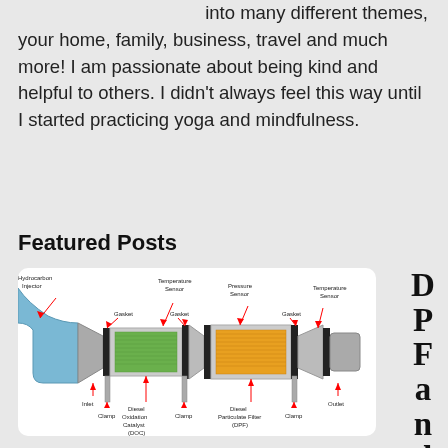into many different themes, your home, family, business, travel and much more! I am passionate about being kind and helpful to others. I didn't always feel this way until I started practicing yoga and mindfulness.
Featured Posts
[Figure (engineering-diagram): Diagram of a diesel exhaust aftertreatment system showing: Hydrocarbon injector, Inlet, Gaskets, Temperature Sensor, Pressure Sensor, Diesel Oxidation Catalyst (DOC) with green filter, Diesel Particulate Filter (DPF) with orange filter, Clamps, Outlet, and Temperature Sensor.]
DPF and DO